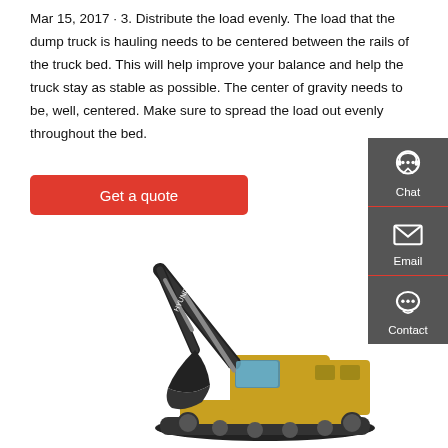Mar 15, 2017 · 3. Distribute the load evenly. The load that the dump truck is hauling needs to be centered between the rails of the truck bed. This will help improve your balance and help the truck stay as stable as possible. The center of gravity needs to be, well, centered. Make sure to spread the load out evenly throughout the bed.
Get a quote
[Figure (infographic): Sidebar with chat, email, and contact icons on dark gray background]
[Figure (photo): Hyundai excavator with arm raised and bucket in foreground, yellow and black color scheme]